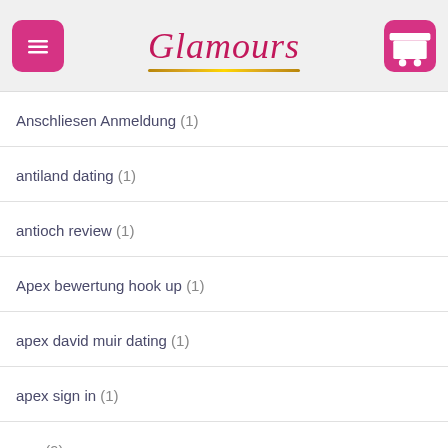Glamours
Anschliesen Anmeldung (1)
antiland dating (1)
antioch review (1)
Apex bewertung hook up (1)
apex david muir dating (1)
apex sign in (1)
app (9)
app-di-incontri visitors (1)
approved payday loan (1)
Arablounge bewertung hook up (1)